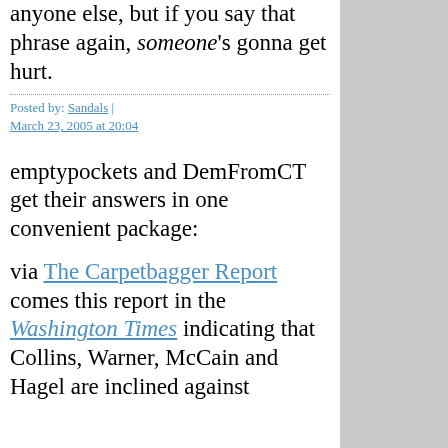anyone else, but if you say that phrase again, someone's gonna get hurt.
Posted by: Sandals | March 23, 2005 at 20:04
emptypockets and DemFromCT get their answers in one convenient package:
via The Carpetbagger Report comes this report in the Washington Times indicating that Collins, Warner, McCain and Hagel are inclined against Bolton as a...